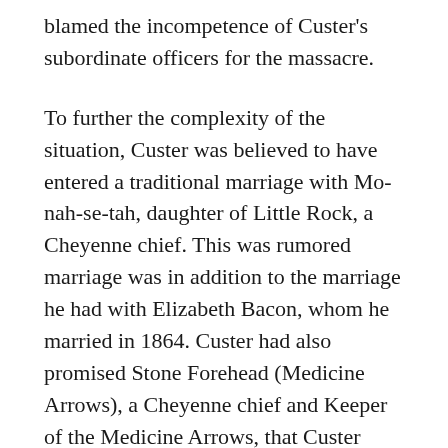blamed the incompetence of Custer's subordinate officers for the massacre.
To further the complexity of the situation, Custer was believed to have entered a traditional marriage with Mo-nah-se-tah, daughter of Little Rock, a Cheyenne chief. This was rumored marriage was in addition to the marriage he had with Elizabeth Bacon, whom he married in 1864. Custer had also promised Stone Forehead (Medicine Arrows), a Cheyenne chief and Keeper of the Medicine Arrows, that Custer would never fight against Native Americans again. Custer also told his Native American scout, Bloody Knife, that if he was victorious in his last Indian campaign, he would